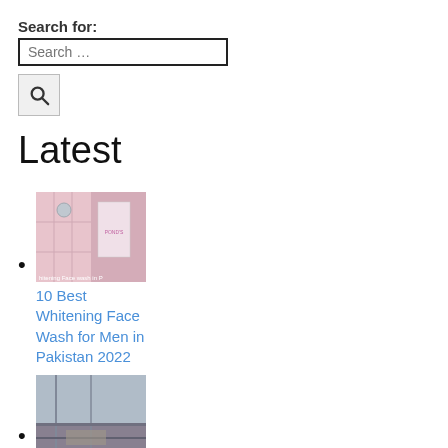Search for:
Search …
Latest
10 Best Whitening Face Wash for Men in Pakistan 2022
12 Best